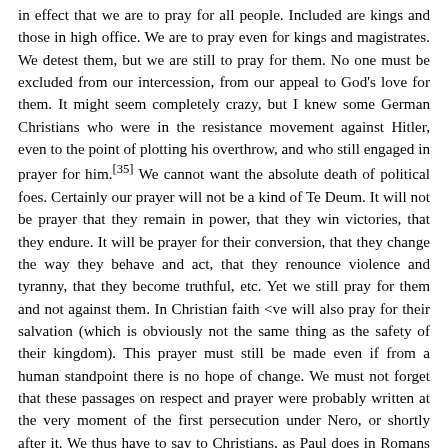in effect that we are to pray for all people. Included are kings and those in high office. We are to pray even for kings and magistrates. We detest them, but we are still to pray for them. No one must be excluded from our intercession, from our appeal to God's love for them. It might seem completely crazy, but I knew some German Christians who were in the resistance movement against Hitler, even to the point of plotting his overthrow, and who still engaged in prayer for him.[35] We cannot want the absolute death of political foes. Certainly our prayer will not be a kind of Te Deum. It will not be prayer that they remain in power, that they win victories, that they endure. It will be prayer for their conversion, that they change the way they behave and act, that they renounce violence and tyranny, that they become truthful, etc. Yet we still pray for them and not against them. In Christian faith <ve will also pray for their salvation (which is obviously not the same thing as the safety of their kingdom). This prayer must still be made even if from a human standpoint there is no hope of change. We must not forget that these passages on respect and prayer were probably written at the very moment of the first persecution under Nero, or shortly after it. We thus have to say to Christians, as Paul does in Romans 13, that even though you are revolted by persecutions, even though you are ready to rebel, instead pray for the authorities. Your only